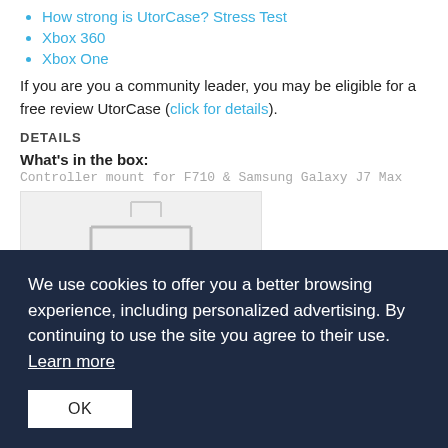How strong is UtorCase? Stress Test
Xbox 360
Xbox One
If you are you a community leader, you may be eligible for a free review UtorCase (click for details).
DETAILS
What's in the box:
Controller mount for F710 & Samsung Galaxy J7 Max
[Figure (photo): Product photo of a controller mount, white wire/bracket hardware on white background]
We use cookies to offer you a better browsing experience, including personalized advertising. By continuing to use the site you agree to their use. Learn more
OK